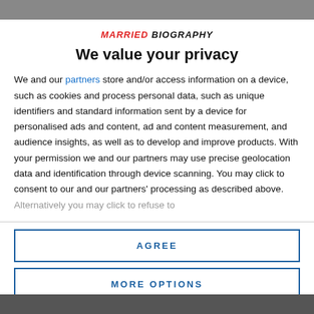[Figure (photo): Partially visible photo bar at the top of the page, showing people in the background.]
MARRIED BIOGRAPHY
We value your privacy
We and our partners store and/or access information on a device, such as cookies and process personal data, such as unique identifiers and standard information sent by a device for personalised ads and content, ad and content measurement, and audience insights, as well as to develop and improve products. With your permission we and our partners may use precise geolocation data and identification through device scanning. You may click to consent to our and our partners' processing as described above. Alternatively you may click to refuse to
AGREE
MORE OPTIONS
DISAGREE
[Figure (photo): Partially visible photo bar at the bottom of the page.]